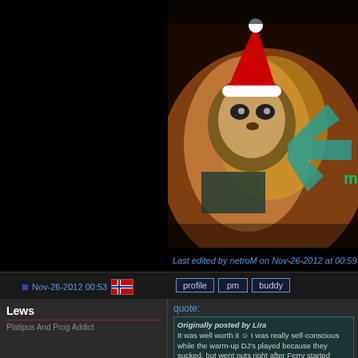[Figure (photo): Animal (raccoon-like creature) wearing a Santa hat, fantasy game art background with teal arrow graphic and green 'mc' text]
Last edited by netroM on Nov-26-2012 at 00:59
Nov-26-2012 00:53 [Norwegian flag]
profile  pm  buddy
Lews
Platipus And Prog Addict
[Figure (logo): Platipus Records logo - three yellow-green circles arranged in a cluster with 'platipus' text below, Santa hat on top]
Registered: Feb 2007
Location: Hugging Whales And Saving Trees
quote:
Originally posted by Lira
It was well worth it :)

I was really self-conscious while the warm-up DJ's played because they sucked, but went nuts right after Ferry started playing (a random girl even approached me because she said she never saw anyone dancing so much for so long in her life :D). Saw Tiesto (such a diva, hah) and Laurent Wolf next, always on my own.

Went with a friend for the first time yesterday to a rave last week (Oliver Klein). It was...
underwhelming :(